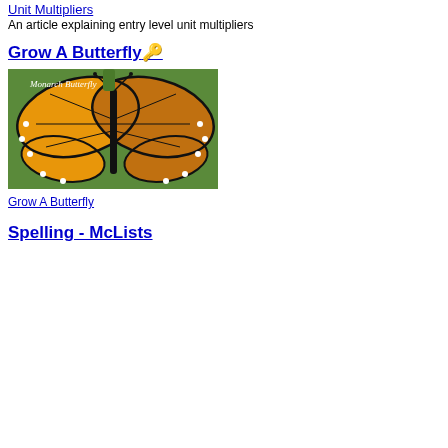Unit Multipliers
An article explaining entry level unit multipliers
Grow A Butterfly 🔑
[Figure (photo): Photo of a Monarch Butterfly with wings spread, labeled 'Monarch Butterfly', attached to a green plant stem]
Grow A Butterfly
Spelling - McLists